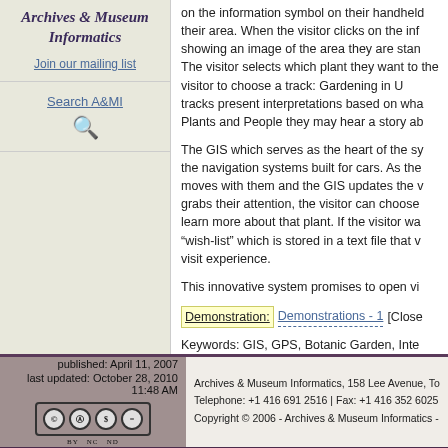Archives & Museum Informatics
Join our mailing list
Search A&MI
on the information symbol on their handheld their area. When the visitor clicks on the inf showing an image of the area they are stan The visitor selects which plant they want to the visitor to choose a track: Gardening in U tracks present interpretations based on wha Plants and People they may hear a story ab
The GIS which serves as the heart of the sy the navigation systems built for cars. As the moves with them and the GIS updates the v grabs their attention, the visitor can choose learn more about that plant. If the visitor wa "wish-list" which is stored in a text file that v visit experience.
This innovative system promises to open vi
Demonstration: Demonstrations - 1 [Close
Keywords: GIS, GPS, Botanic Garden, Inte
published: April 11, 2007 | last updated: October 28, 2010 11:48 AM
Archives & Museum Informatics, 158 Lee Avenue, To | Telephone: +1 416 691 2516 | Fax: +1 416 352 6025 | Copyright © 2006 - Archives & Museum Informatics -